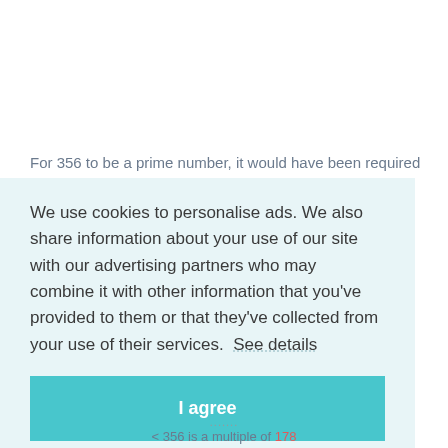For 356 to be a prime number, it would have been required that
We use cookies to personalise ads. We also share information about your use of our site with our advertising partners who may combine it with other information that you've provided to them or that they've collected from your use of their services. See details
I agree
< 356 is a multiple of 178